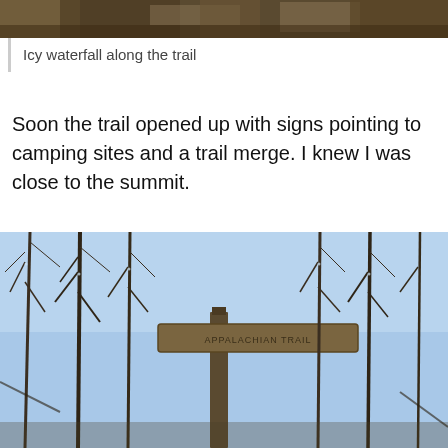[Figure (photo): Top portion of an outdoor photo showing icy or rocky natural scenery along a trail, cropped at the top of the page.]
Icy waterfall along the trail
Soon the trail opened up with signs pointing to camping sites and a trail merge. I knew I was close to the summit.
[Figure (photo): Photograph of a wooden trail sign (appears to read 'Appalachian Trail') mounted on a post amid bare winter trees against a blue sky.]